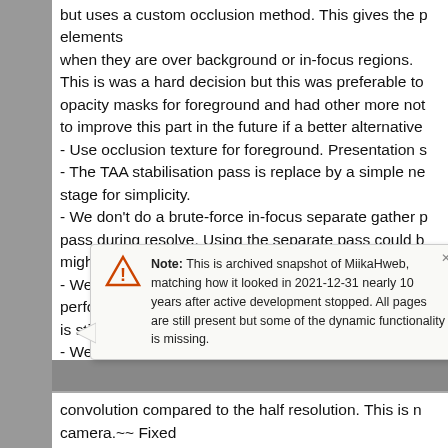but uses a custom occlusion method. This gives the p elements when they are over background or in-focus regions. This is was a hard decision but this was preferable to opacity masks for foreground and had other more not to improve this part in the future if a better alternative - Use occlusion texture for foreground. Presentation s - The TAA stabilisation pass is replace by a simple ne stage for simplicity. - We don't do a brute-force in-focus separate gather p pass during resolve. Using the separate pass could b might give less precise results. - We don't use compute shaders at all so shader bran performance is still way better than our previous implementation. - We mainly rely on density change to fix all undersan is something the reference implementation is not doin
Remaining issues (not considered blocking for me):
Note: This is archived snapshot of MiikaHweb, matching how it looked in 2021-12-31 nearly 10 years after active development stopped. All pages are still present but some of the dynamic functionality is missing.
convolution compared to the half resolution. This is n camera.~~ Fixed